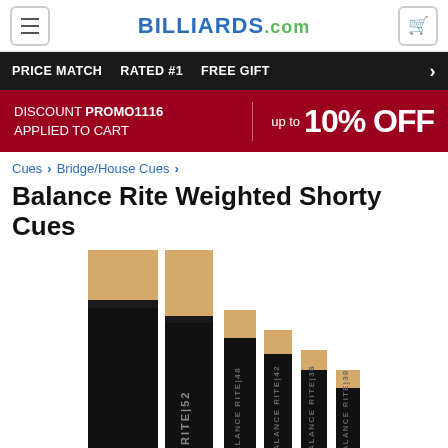BILLIARDS.com
PRICE MATCH   RATED #1   FREE GIFT
DISCOUNT PROMO1116 APPLIED TO CART   up to 10% OFF
Cues > Bridge/House Cues >
Balance Rite Weighted Shorty Cues
[Figure (photo): Product photo showing multiple Balance Rite Weighted Shorty Cues — black pool cues with wood tips, labeled BALANCE RITE with sizes 52, 48, 42, 36, 30]